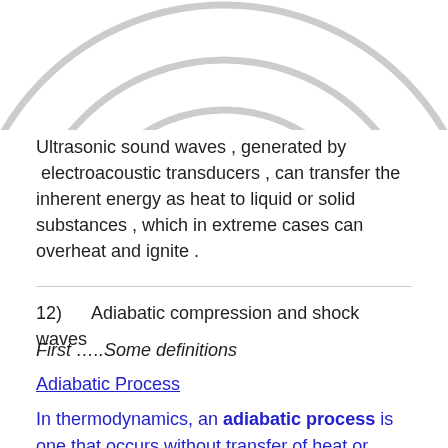[Figure (illustration): Partial view of concentric arc lines resembling ultrasonic/sound waves radiating outward, shown in light gray, cropped at the top of the page.]
Ultrasonic sound waves , generated by  electroacoustic transducers , can transfer the inherent energy as heat to liquid or solid substances , which in extreme cases can overheat and ignite .
12)      Adiabatic compression and shock waves
First …..Some definitions
Adiabatic Process
In thermodynamics, an adiabatic process is one that occurs without transfer of heat or matter between a thermodynamic system and its surroundings. In an